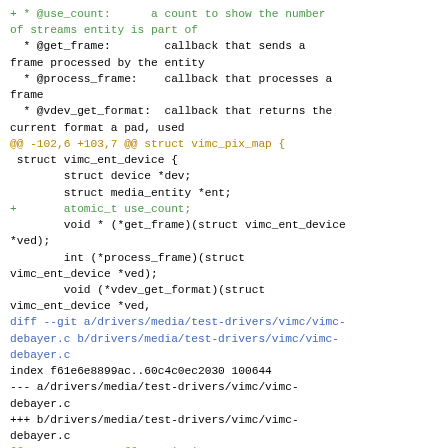diff/patch code showing changes to vimc kernel driver files including struct vimc_ent_device additions and diff headers for vimc-debayer.c